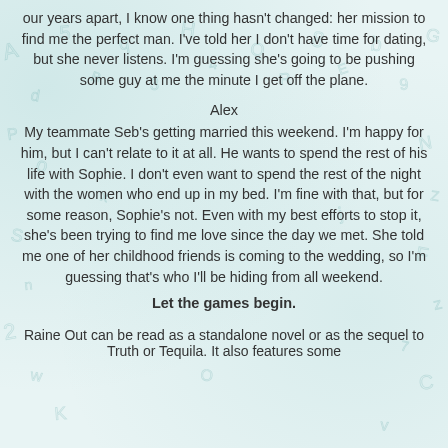our years apart, I know one thing hasn't changed: her mission to find me the perfect man. I've told her I don't have time for dating, but she never listens. I'm guessing she's going to be pushing some guy at me the minute I get off the plane.
Alex
My teammate Seb's getting married this weekend. I'm happy for him, but I can't relate to it at all. He wants to spend the rest of his life with Sophie. I don't even want to spend the rest of the night with the women who end up in my bed. I'm fine with that, but for some reason, Sophie's not. Even with my best efforts to stop it, she's been trying to find me love since the day we met. She told me one of her childhood friends is coming to the wedding, so I'm guessing that's who I'll be hiding from all weekend.
Let the games begin.
Raine Out can be read as a standalone novel or as the sequel to Truth or Tequila. It also features some